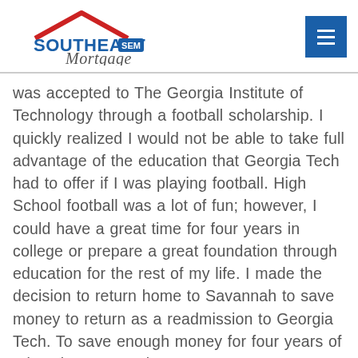Southeast SEM Mortgage
was accepted to The Georgia Institute of Technology through a football scholarship. I quickly realized I would not be able to take full advantage of the education that Georgia Tech had to offer if I was playing football. High School football was a lot of fun; however, I could have a great time for four years in college or prepare a great foundation through education for the rest of my life. I made the decision to return home to Savannah to save money to return as a readmission to Georgia Tech. To save enough money for four years of education I opened a